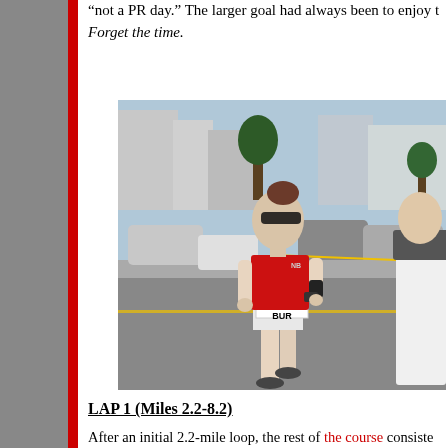“not a PR day.” The larger goal had always been to enjoy t… Forget the time.
[Figure (photo): Female runner wearing a red U.S. Olympic Team singlet with race bib 'BURI', sunglasses, and a GPS watch, running on a city street with cars and buildings in the background. Another runner is partially visible to the right.]
LAP 1 (Miles 2.2-8.2)
After an initial 2.2-mile loop, the rest of the course consisted… times. Most of the 6 miles was an out-and-back on Figueroa…